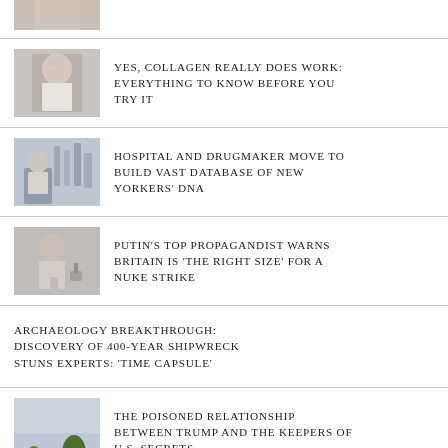[Figure (photo): Partial view of a person touching their face, cropped at top]
YES, COLLAGEN REALLY DOES WORK: EVERYTHING TO KNOW BEFORE YOU TRY IT
[Figure (photo): Man standing with arms crossed in front of city skyline through window]
HOSPITAL AND DRUGMAKER MOVE TO BUILD VAST DATABASE OF NEW YORKERS' DNA
[Figure (photo): Man in suit speaking at podium with microphone]
PUTIN'S TOP PROPAGANDIST WARNS BRITAIN IS 'THE RIGHT SIZE' FOR A NUKE STRIKE
ARCHAEOLOGY BREAKTHROUGH: DISCOVERY OF 400-YEAR SHIPWRECK STUNS EXPERTS: 'TIME CAPSULE'
[Figure (photo): Partially visible outdoor scene with palm trees and clouds]
THE POISONED RELATIONSHIP BETWEEN TRUMP AND THE KEEPERS OF U.S. SECRETS